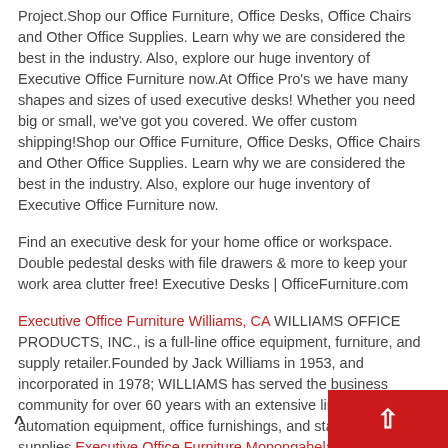Project.Shop our Office Furniture, Office Desks, Office Chairs and Other Office Supplies. Learn why we are considered the best in the industry. Also, explore our huge inventory of Executive Office Furniture now.At Office Pro's we have many shapes and sizes of used executive desks! Whether you need big or small, we've got you covered. We offer custom shipping!Shop our Office Furniture, Office Desks, Office Chairs and Other Office Supplies. Learn why we are considered the best in the industry. Also, explore our huge inventory of Executive Office Furniture now.
Find an executive desk for your home office or workspace. Double pedestal desks with file drawers & more to keep your work area clutter free! Executive Desks | OfficeFurniture.com
Executive Office Furniture Williams, CA WILLIAMS OFFICE PRODUCTS, INC., is a full-line office equipment, furniture, and supply retailer.Founded by Jack Williams in 1953, and incorporated in 1978; WILLIAMS has served the business community for over 60 years with an extensive line of office automation equipment, office furnishings, and stationery supplies.Executive Office Furniture Monongahela, P... ve